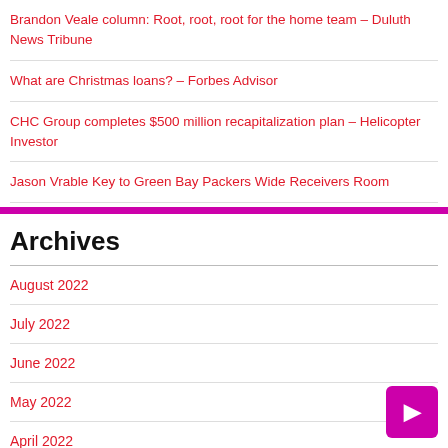Brandon Veale column: Root, root, root for the home team – Duluth News Tribune
What are Christmas loans? – Forbes Advisor
CHC Group completes $500 million recapitalization plan – Helicopter Investor
Jason Vrable Key to Green Bay Packers Wide Receivers Room
Archives
August 2022
July 2022
June 2022
May 2022
April 2022
March 2022
February 2022